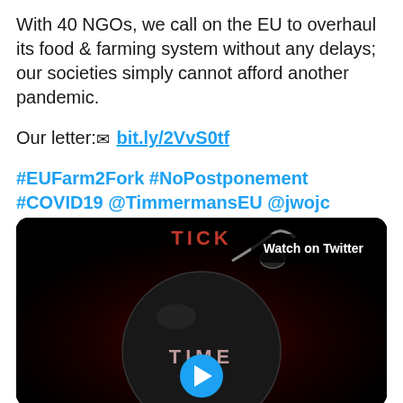With 40 NGOs, we call on the EU to overhaul its food & farming system without any delays; our societies simply cannot afford another pandemic.
Our letter: ✉ bit.ly/2VvS0tf
#EUFarm2Fork #NoPostponement #COVID19 @TimmermansEU @jwojc @SKyriakidesEU @VSinkevicius
[Figure (screenshot): Video thumbnail showing a black bomb with 'TICK' text at top and 'TIME' text on the bomb body, with a blue play button at the bottom and a 'Watch on Twitter' badge in the top right corner.]